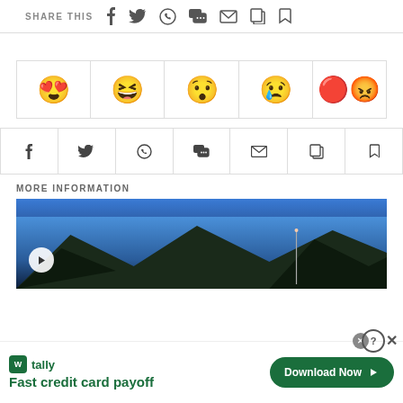SHARE THIS
[Figure (infographic): Row of 5 emoji reaction buttons: heart-eyes, laughing, surprised, crying, angry]
[Figure (infographic): Row of 7 social sharing icon buttons: Facebook, Twitter, WhatsApp, chat, email, copy, bookmark]
MORE INFORMATION
[Figure (photo): Dark mountain landscape against blue sky with a play button overlay — video thumbnail]
[Figure (infographic): Tally ad banner: Fast credit card payoff with Download Now button]